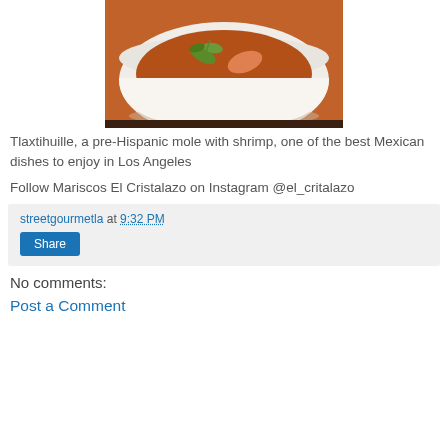[Figure (photo): A white bowl containing Tlaxtihuille, a pre-Hispanic mole with shrimp, garnished with cilantro, on a dark background.]
Tlaxtihuille, a pre-Hispanic mole with shrimp, one of the best Mexican dishes to enjoy in Los Angeles
Follow Mariscos El Cristalazo on Instagram @el_critalazo
streetgourmetla at 9:32 PM
Share
No comments:
Post a Comment